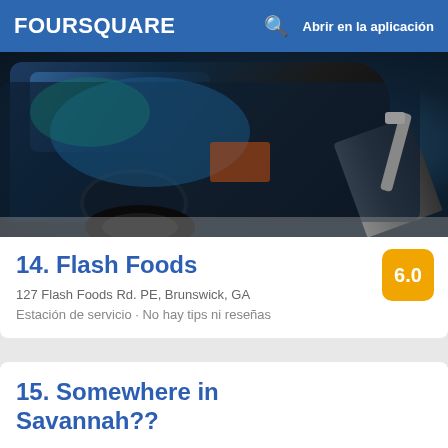FOURSQUARE  Abrir en la aplicación
[Figure (photo): Photo of a dark blue/black vehicle at a gas station with a fuel pump hose attached]
14. Flash Foods
6.0
127 Flash Foods Rd. PE, Brunswick, GA
Estación de servicio · No hay tips ni reseñas
15. Somewhere in Savannah??
Bar al aire libre · Chatham Parkway · No hay tips ni reseñas